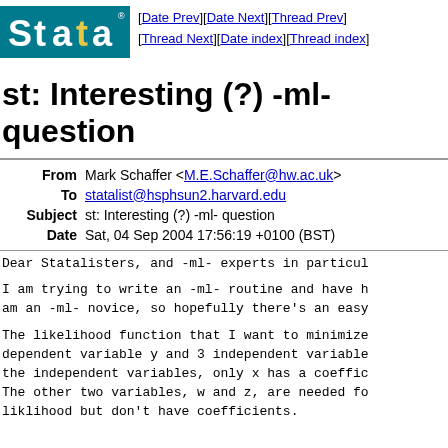[Figure (logo): Stata logo - teal/blue background with white 'Stata' text and registered trademark symbol]
[Date Prev][Date Next][Thread Prev][Thread Next][Date index][Thread index]
st: Interesting (?) -ml- question
| From | Mark Schaffer <M.E.Schaffer@hw.ac.uk> |
| To | statalist@hsphsun2.harvard.edu |
| Subject | st: Interesting (?) -ml- question |
| Date | Sat, 04 Sep 2004 17:56:19 +0100 (BST) |
Dear Statalisters, and -ml- experts in particu…
I am trying to write an -ml- routine and have h… am an -ml- novice, so hopefully there's an easy…
The likelihood function that I want to minimize… dependent variable y and 3 independent variable… the independent variables, only x has a coeffici… The other two variables, w and z, are needed f… liklihood but don't have coefficients.